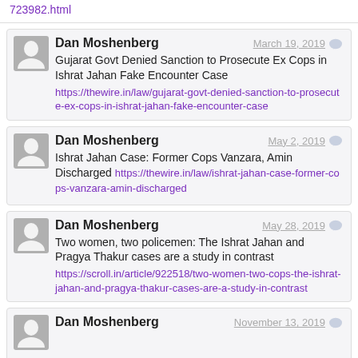723982.html
Dan Moshenberg March 19, 2019 Gujarat Govt Denied Sanction to Prosecute Ex Cops in Ishrat Jahan Fake Encounter Case https://thewire.in/law/gujarat-govt-denied-sanction-to-prosecute-ex-cops-in-ishrat-jahan-fake-encounter-case
Dan Moshenberg May 2, 2019 Ishrat Jahan Case: Former Cops Vanzara, Amin Discharged https://thewire.in/law/ishrat-jahan-case-former-cops-vanzara-amin-discharged
Dan Moshenberg May 28, 2019 Two women, two policemen: The Ishrat Jahan and Pragya Thakur cases are a study in contrast https://scroll.in/article/922518/two-women-two-cops-the-ishrat-jahan-and-pragya-thakur-cases-are-a-study-in-contrast
Dan Moshenberg November 13, 2019